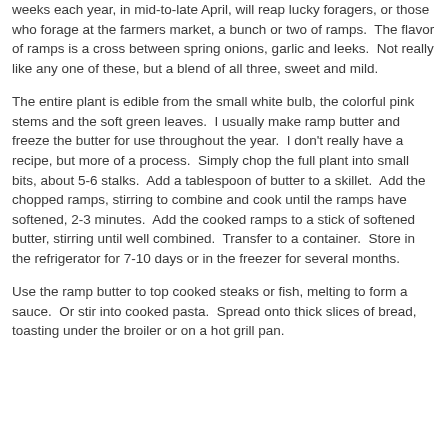weeks each year, in mid-to-late April, will reap lucky foragers, or those who forage at the farmers market, a bunch or two of ramps.  The flavor of ramps is a cross between spring onions, garlic and leeks.  Not really like any one of these, but a blend of all three, sweet and mild.
The entire plant is edible from the small white bulb, the colorful pink stems and the soft green leaves.  I usually make ramp butter and freeze the butter for use throughout the year.  I don't really have a recipe, but more of a process.  Simply chop the full plant into small bits, about 5-6 stalks.  Add a tablespoon of butter to a skillet.  Add the chopped ramps, stirring to combine and cook until the ramps have softened, 2-3 minutes.  Add the cooked ramps to a stick of softened butter, stirring until well combined.  Transfer to a container.  Store in the refrigerator for 7-10 days or in the freezer for several months.
Use the ramp butter to top cooked steaks or fish, melting to form a sauce.  Or stir into cooked pasta.  Spread onto thick slices of bread, toasting under the broiler or on a hot grill pan.